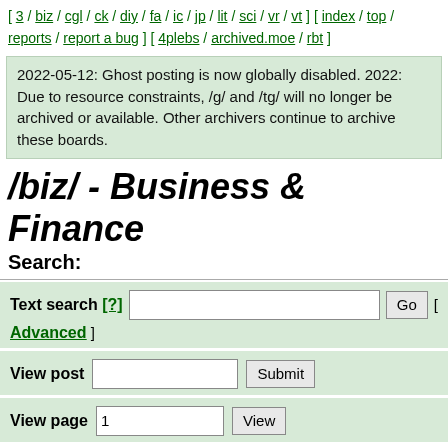[ 3 / biz / cgl / ck / diy / fa / ic / jp / lit / sci / vr / vt ] [ index / top / reports / report a bug ] [ 4plebs / archived.moe / rbt ]
2022-05-12: Ghost posting is now globally disabled. 2022: Due to resource constraints, /g/ and /tg/ will no longer be archived or available. Other archivers continue to archive these boards.
/biz/ - Business & Finance
Search:
Text search [?]  Go  [ Advanced ]
View post  Submit
View page  1  View
[ Toggle deleted replies ]
>> Anonymous Tue Aug 16 17:43:46 2022 No.50935300 [View]